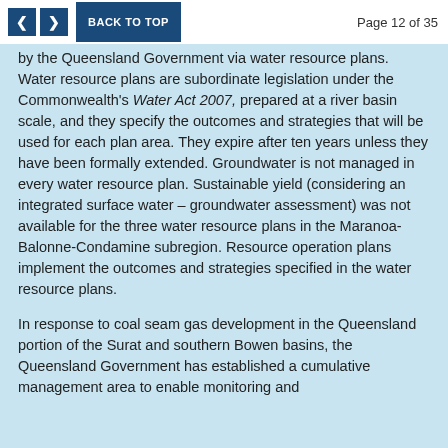< > BACK TO TOP   Page 12 of 35
by the Queensland Government via water resource plans. Water resource plans are subordinate legislation under the Commonwealth's Water Act 2007, prepared at a river basin scale, and they specify the outcomes and strategies that will be used for each plan area. They expire after ten years unless they have been formally extended. Groundwater is not managed in every water resource plan. Sustainable yield (considering an integrated surface water – groundwater assessment) was not available for the three water resource plans in the Maranoa-Balonne-Condamine subregion. Resource operation plans implement the outcomes and strategies specified in the water resource plans.
In response to coal seam gas development in the Queensland portion of the Surat and southern Bowen basins, the Queensland Government has established a cumulative management area to enable monitoring and assessment of the cumulative impacts of coal seam gas